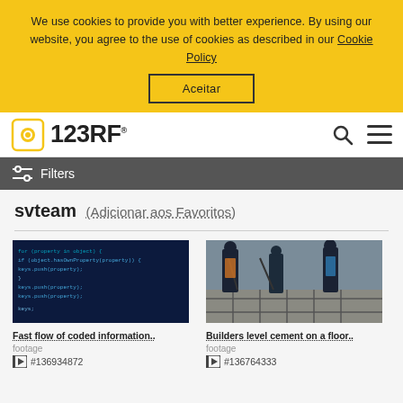We use cookies to provide you with better experience. By using our website, you agree to the use of cookies as described in our Cookie Policy
Aceitar
[Figure (logo): 123RF logo with camera icon]
Filters
svteam (Adicionar aos Favoritos)
[Figure (screenshot): Fast flow of coded information - dark blue background with JavaScript code]
Fast flow of coded information.. footage #136934872
[Figure (photo): Builders level cement on a floor - construction workers pouring concrete]
Builders level cement on a floor.. footage #136764333